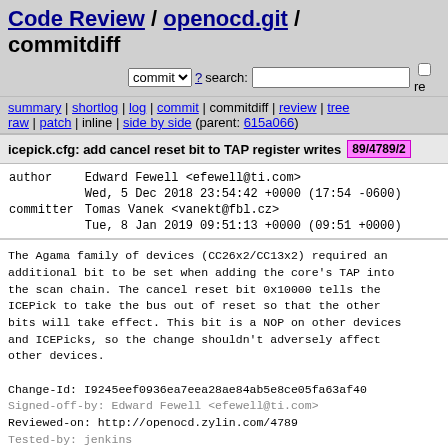Code Review / openocd.git / commitdiff
commit ▾ ? search:  re
summary | shortlog | log | commit | commitdiff | review | tree
raw | patch | inline | side by side (parent: 615a066)
icepick.cfg: add cancel reset bit to TAP register writes 89/4789/2
| author | Edward Fewell <efewell@ti.com> |
|  | Wed, 5 Dec 2018 23:54:42 +0000 (17:54 -0600) |
| committer | Tomas Vanek <vanekt@fbl.cz> |
|  | Tue, 8 Jan 2019 09:51:13 +0000 (09:51 +0000) |
The Agama family of devices (CC26x2/CC13x2) required an additional bit to be set when adding the core's TAP into the scan chain. The cancel reset bit 0x10000 tells the ICEPick to take the bus out of reset so that the other bits will take effect. This bit is a NOP on other devices and ICEPicks, so the change shouldn't adversely affect other devices.

Change-Id: I9245eef0936ea7eea28ae84ab5e8ce05fa63af40
Signed-off-by: Edward Fewell <efewell@ti.com>
Reviewed-on: http://openocd.zylin.com/4789
Tested-by: jenkins
Reviewed-by: Spencer Oliver <spen@spen-soft.co.uk>